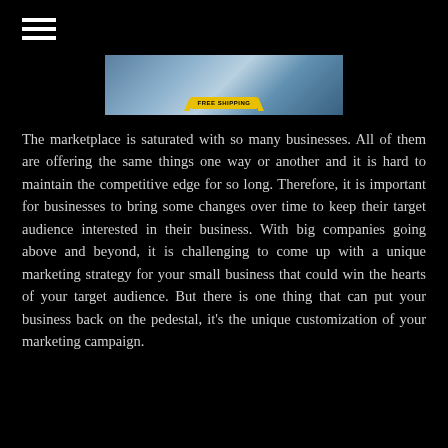[Figure (other): Hamburger menu icon (three horizontal white lines) in top-left corner]
[Figure (photo): Banner image with blue/sky background and a yellow 'FREE SHIPPING' badge/ribbon at the bottom center]
The marketplace is saturated with so many businesses. All of them are offering the same things one way or another and it is hard to maintain the competitive edge for so long. Therefore, it is important for businesses to bring some changes over time to keep their target audience interested in their business. With big companies going above and beyond, it is challenging to come up with a unique marketing strategy for your small business that could win the hearts of your target audience. But there is one thing that can put your business back on the pedestal, it's the unique customization of your marketing campaign.